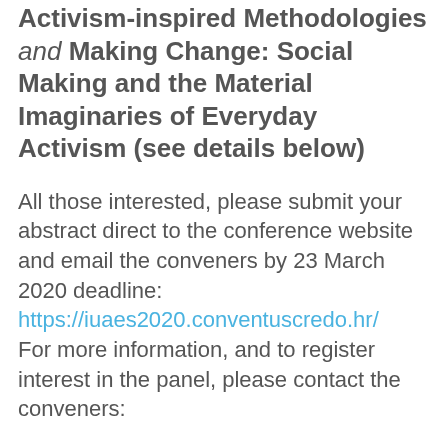Activism-inspired Methodologies and Making Change: Social Making and the Material Imaginaries of Everyday Activism (see details below)
All those interested, please submit your abstract direct to the conference website and email the conveners by 23 March 2020 deadline: https://iuaes2020.conventuscredo.hr/ For more information, and to register interest in the panel, please contact the conveners: